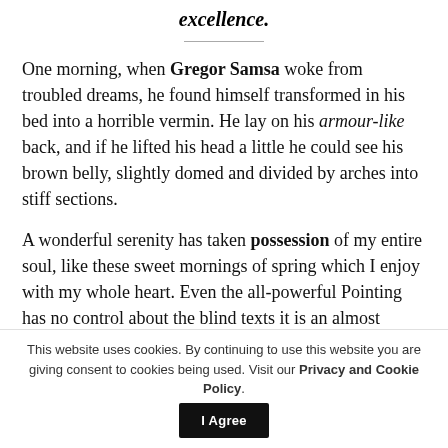excellence.
One morning, when Gregor Samsa woke from troubled dreams, he found himself transformed in his bed into a horrible vermin. He lay on his armour-like back, and if he lifted his head a little he could see his brown belly, slightly domed and divided by arches into stiff sections.
A wonderful serenity has taken possession of my entire soul, like these sweet mornings of spring which I enjoy with my whole heart. Even the all-powerful Pointing has no control about the blind texts it is an almost unorthographic life One day
This website uses cookies. By continuing to use this website you are giving consent to cookies being used. Visit our Privacy and Cookie Policy. I Agree